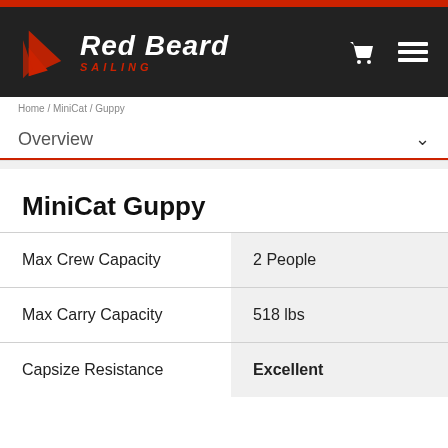Red Beard Sailing
Home / MiniCat / Guppy
Overview
MiniCat Guppy
| Specification | Value |
| --- | --- |
| Max Crew Capacity | 2 People |
| Max Carry Capacity | 518 lbs |
| Capsize Resistance | Excellent |